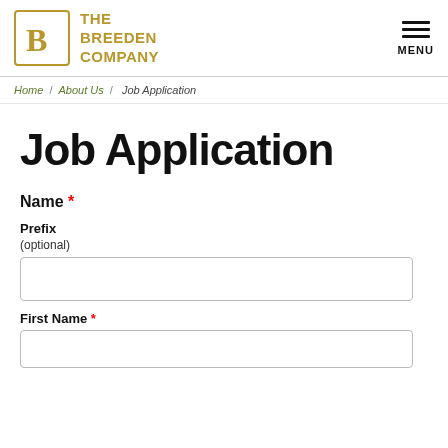[Figure (logo): The Breeden Company logo with golden B letter in a square border and company name in gold]
Home / About Us / Job Application
Job Application
Name *
Prefix
(optional)
First Name *